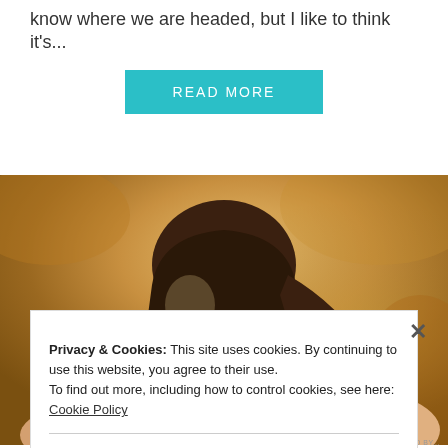know where we are headed, but I like to think it's...
READ MORE
[Figure (photo): Young woman with long dark hair, looking downward, warm golden outdoor background, wearing white top]
Privacy & Cookies: This site uses cookies. By continuing to use this website, you agree to their use.
To find out more, including how to control cookies, see here: Cookie Policy
Close and accept